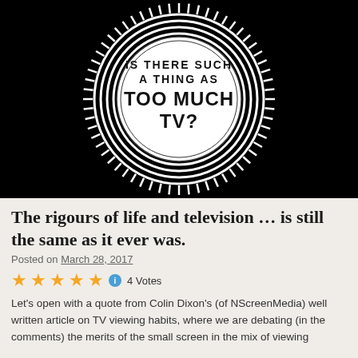[Figure (illustration): Black and white circular graphic with radiating lines around a circle. Inside the circle text reads: IS THERE SUCH A THING AS TOO MUCH TV?]
The rigours of life and television … is still the same as it ever was.
Posted on March 28, 2017
★★★★★ ℹ 4 Votes
Let's open with a quote from Colin Dixon's (of NScreenMedia) well written article on TV viewing habits, where we are debating (in the comments) the merits of the small screen in the mix of viewing